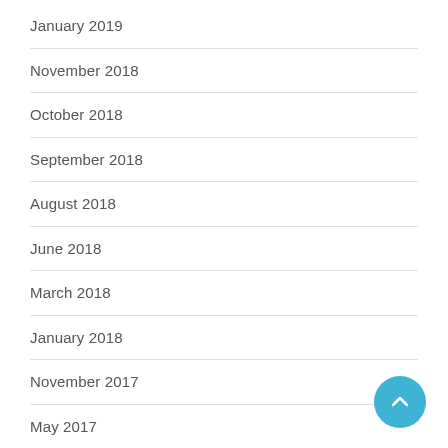January 2019
November 2018
October 2018
September 2018
August 2018
June 2018
March 2018
January 2018
November 2017
May 2017